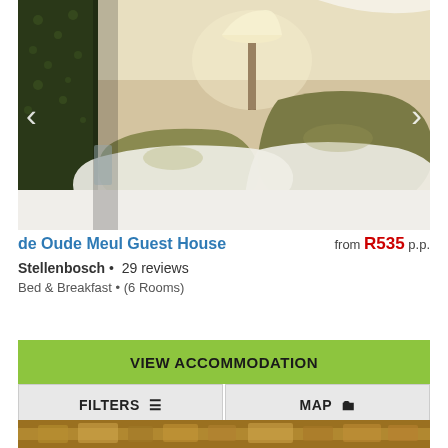[Figure (photo): Hotel bedroom with white pillows, olive/khaki decorative cushions on a white bed, warm lamp light, dark floral curtains on left side — slideshow with left/right navigation arrows]
de Oude Meul Guest House
from R535 p.p.
Stellenbosch • 29 reviews
Bed & Breakfast • (6 Rooms)
VIEW ACCOMMODATION
FILTERS
MAP
[Figure (photo): Bottom strip showing partial image — warm golden/brown tones, appears to be food or similar texture]